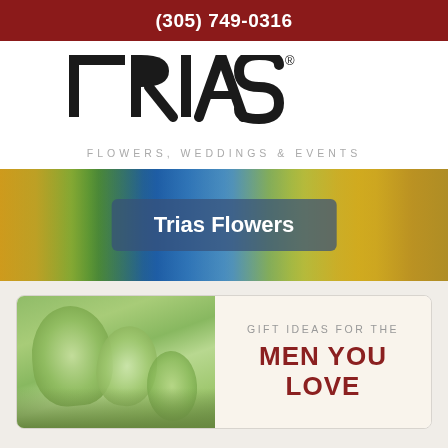(305) 749-0316
[Figure (logo): TRIAS Flowers, Weddings & Events logo in bold black serif lettering with subtitle in gray spaced caps]
[Figure (photo): Colorful flower arrangement banner showing blue hydrangeas, yellow flowers, green succulents and roses with a semi-transparent overlay box reading 'Trias Flowers']
[Figure (photo): Promotional card with succulent plant photo on left and text 'GIFT IDEAS FOR THE MEN YOU LOVE' on right on light background]
FIND A WONDERFUL